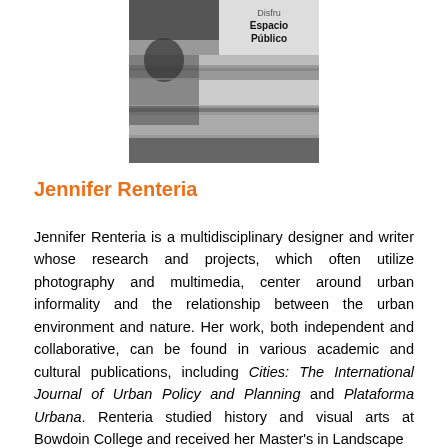[Figure (photo): Black and white photograph of a public space with a sign reading 'Disfruta Espacio Público']
Jennifer Renteria
Jennifer Renteria is a multidisciplinary designer and writer whose research and projects, which often utilize photography and multimedia, center around urban informality and the relationship between the urban environment and nature. Her work, both independent and collaborative, can be found in various academic and cultural publications, including Cities: The International Journal of Urban Policy and Planning and Plataforma Urbana. Renteria studied history and visual arts at Bowdoin College and received her Master's in Landscape